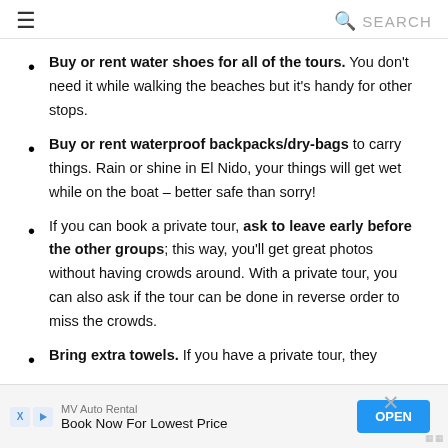≡  🔍 SEARCH
Buy or rent water shoes for all of the tours. You don't need it while walking the beaches but it's handy for other stops.
Buy or rent waterproof backpacks/dry-bags to carry things. Rain or shine in El Nido, your things will get wet while on the boat – better safe than sorry!
If you can book a private tour, ask to leave early before the other groups; this way, you'll get great photos without having crowds around. With a private tour, you can also ask if the tour can be done in reverse order to miss the crowds.
Bring extra towels. If you have a private tour, they
MV Auto Rental
Book Now For Lowest Price
OPEN